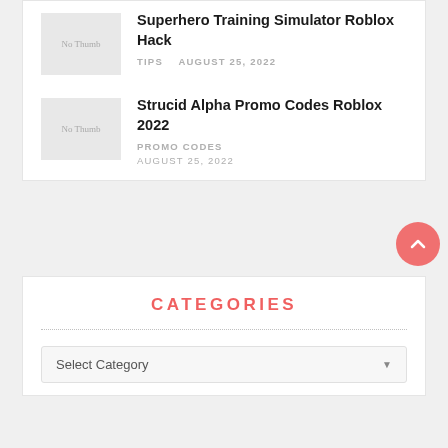Superhero Training Simulator Roblox Hack
TIPS  AUGUST 25, 2022
Strucid Alpha Promo Codes Roblox 2022
PROMO CODES
AUGUST 25, 2022
CATEGORIES